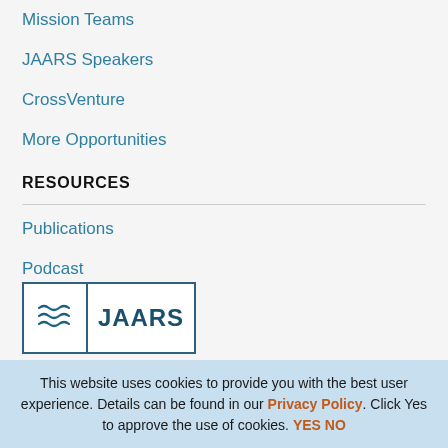Mission Teams
JAARS Speakers
CrossVenture
More Opportunities
RESOURCES
Publications
Podcast
[Figure (logo): JAARS logo with wave symbol on left and JAARS text on right, inside a rectangular border]
This website uses cookies to provide you with the best user experience. Details can be found in our Privacy Policy. Click Yes to approve the use of cookies. YES NO